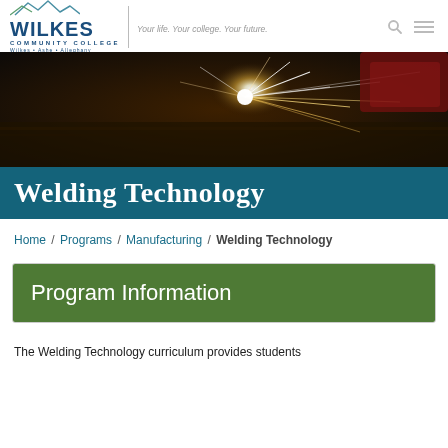WILKES COMMUNITY COLLEGE — Wilkes • Ashe • Alleghany — Your life. Your college. Your future.
[Figure (photo): Close-up photo of welding sparks flying in a workshop environment, with bright white sparks against a dark background, worker's gloved hand visible.]
Welding Technology
Home / Programs / Manufacturing / Welding Technology
Program Information
The Welding Technology curriculum provides students